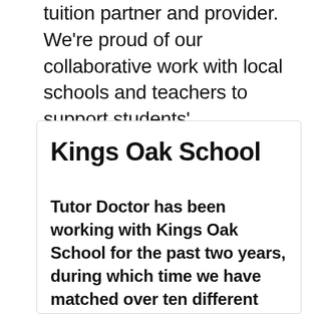tuition partner and provider. We're proud of our collaborative work with local schools and teachers to support students' educational journeys.
Kings Oak School
Tutor Doctor has been working with Kings Oak School for the past two years, during which time we have matched over ten different students who have been excluded from mainstream lessons. We work to a schedule